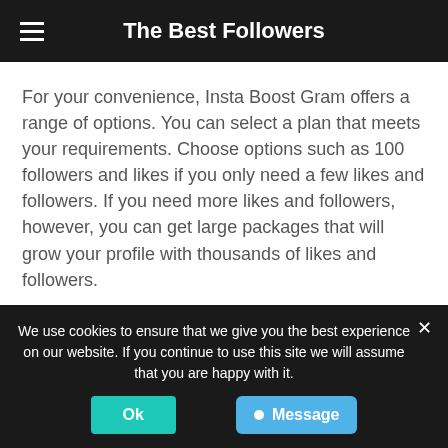The Best Followers
For your convenience, Insta Boost Gram offers a range of options. You can select a plan that meets your requirements. Choose options such as 100 followers and likes if you only need a few likes and followers. If you need more likes and followers, however, you can get large packages that will grow your profile with thousands of likes and followers.
1000 Instagram Followers for $12.75
We use cookies to ensure that we give you the best experience on our website. If you continue to use this site we will assume that you are happy with it.